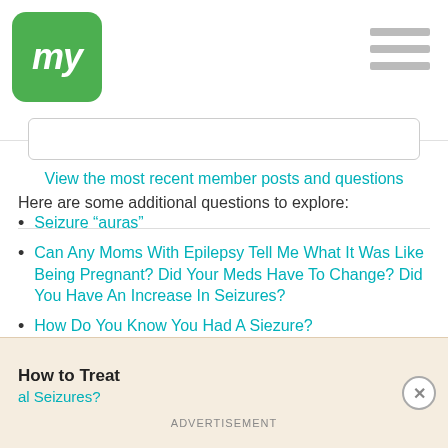my
View the most recent member posts and questions
Here are some additional questions to explore:
Seizure “auras”
Can Any Moms With Epilepsy Tell Me What It Was Like Being Pregnant? Did Your Meds Have To Change? Did You Have An Increase In Seizures?
How Do You Know You Had A Siezure?
Prolonged Aura With Seizure Cluster
#1. How Long It Took Before You Noticed You Had An Aura #2. Are There Any Other Warning Signs?
How to Treat al Seizures?
ADVERTISEMENT